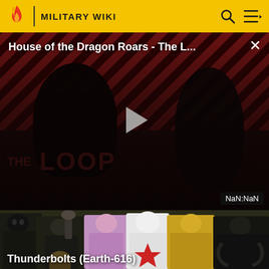MILITARY WIKI
[Figure (screenshot): Video player showing 'House of the Dragon Roars - The L...' with a play button in the center, striped red background pattern, dark silhouetted figures, THE LOOP branding at bottom left, close X button top right, and NaN:NaN duration badge at bottom right]
[Figure (illustration): Comic book illustration of the Thunderbolts (Earth-616) characters, a group of supervillains/antiheroes in colorful costumes including a skull-faced figure, characters in yellow and pink costumes]
Thunderbolts (Earth-616)